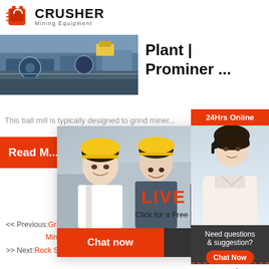[Figure (logo): Crusher Mining Equipment logo with red shopping bag icon and bold CRUSHER text]
[Figure (photo): Industrial mining machinery/plant equipment photo]
Plant | Prominer ...
This ball mill is typically designed to grind miner...
[Figure (photo): Live chat popup overlay with workers in hard hats, LIVE CHAT heading, Click for a Free Consultation, Chat now and Chat later buttons]
[Figure (photo): Customer service representative woman with headset on right side]
24Hrs Online
Read M...
Need questions & suggestion?
Chat Now
Enquiry
limingjlmofen@sina.com
<< Previous:Granite Cone Crush... Mining In Zimbabwe
>> Next:Rock Sand Crushing Ma...